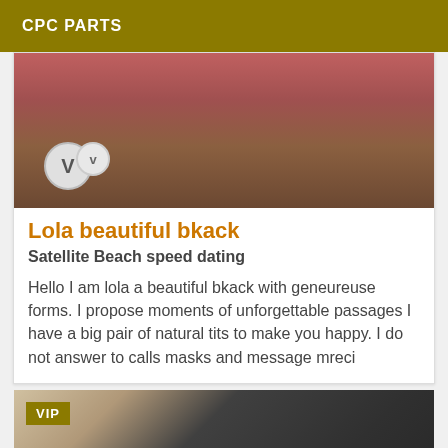CPC PARTS
[Figure (photo): Cropped photo of a person's midsection with pink/red clothing; two circular V badges visible at bottom left]
Lola beautiful bkack
Satellite Beach speed dating
Hello I am lola a beautiful bkack with geneureuse forms. I propose moments of unforgettable passages I have a big pair of natural tits to make you happy. I do not answer to calls masks and message mreci
[Figure (photo): Cropped photo of a person in dark clothing; VIP badge visible at top left]